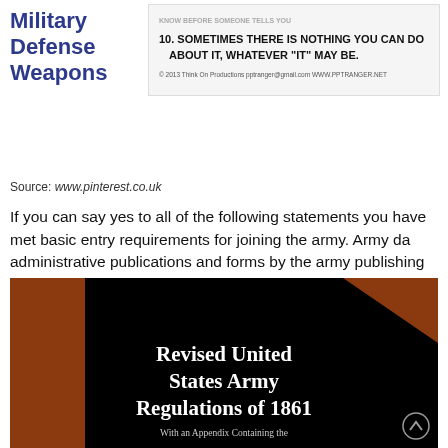Military Defense Weapons
[Figure (screenshot): Screenshot showing rule #10: SOMETIMES THERE IS NOTHING YOU CAN DO ABOUT IT, WHATEVER "IT" MAY BE. With copyright notice from Think On Productions.]
Source: www.pinterest.co.uk
If you can say yes to all of the following statements you have met basic entry requirements for joining the army. Army da administrative publications and forms by the army publishing directorate apd.
[Figure (photo): Book cover image: Revised United States Army Regulations of 1861, With an Appendix Containing the...]